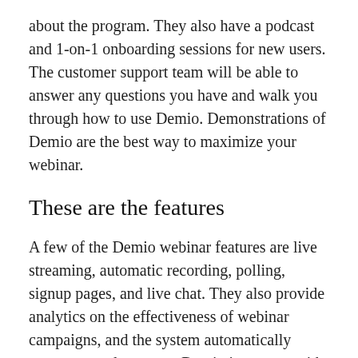about the program. They also have a podcast and 1-on-1 onboarding sessions for new users. The customer support team will be able to answer any questions you have and walk you through how to use Demio. Demonstrations of Demio are the best way to maximize your webinar.
These are the features
A few of the Demio webinar features are live streaming, automatic recording, polling, signup pages, and live chat. They also provide analytics on the effectiveness of webinar campaigns, and the system automatically generates replay pages. Demio integrates with other CRM software and marketing automation software, although it doesn't offer a full suite of tools. Its